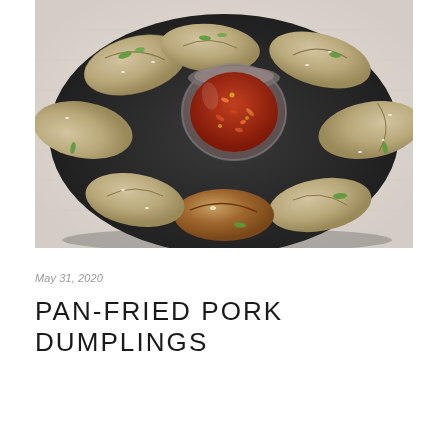[Figure (photo): Overhead photo of pan-fried pork dumplings (potstickers) arranged on a round black plate, garnished with sliced green onions and sesame seeds. A small glass jar of red chili flakes sits in the center of the plate. The plate rests on a light linen surface.]
May 31, 2020
PAN-FRIED PORK DUMPLINGS